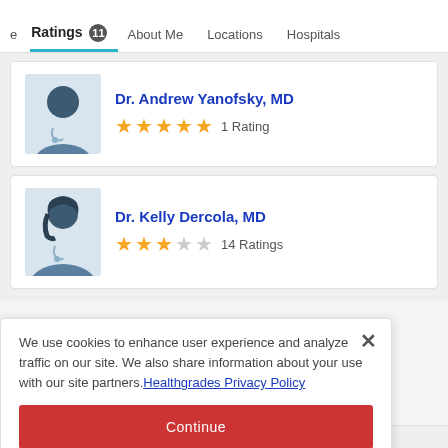Ratings 11 | About Me | Locations | Hospitals
[Figure (illustration): Male doctor silhouette avatar placeholder image]
Dr. Andrew Yanofsky, MD — ★★★★★ 1 Rating
[Figure (illustration): Female doctor silhouette avatar placeholder image]
Dr. Kelly Dercola, MD — ★★★☆☆ 14 Ratings
We use cookies to enhance user experience and analyze traffic on our site. We also share information about your use with our site partners. Healthgrades Privacy Policy
Continue
Access my Privacy Preferences